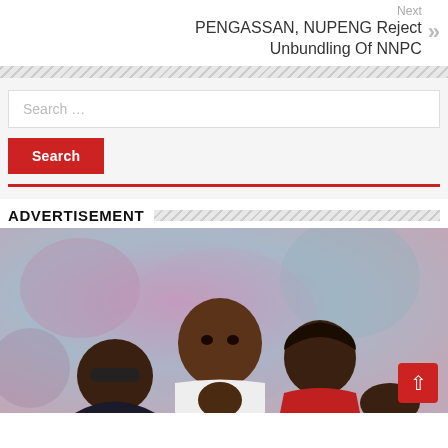Next PENGASSAN, NUPENG Reject Unbundling Of NNPC
Search …
Search
ADVERTISEMENT
[Figure (photo): Movie poster or advertisement image showing multiple people against a pink/purple background. A man in a white vest looking intense, a woman beside him, a man with sunglasses, a child, and another person partially visible.]